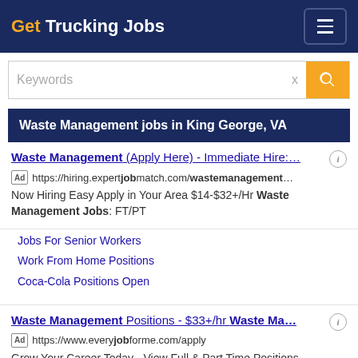Get Trucking Jobs
Keywords
Waste Management jobs in King George, VA
Waste Management (Apply Here) - Immediate Hire:…
Ad https://hiring.expertjobmatch.com/wastemanagement…
Now Hiring Easy Apply in Your Area $14-$32+/Hr Waste Management Jobs: FT/PT
Jobs For Senior Workers
Work From Home Positions
Coca-Cola Positions Open
Waste Management Positions - $33+/hr Waste Ma…
Ad https://www.everyjobforme.com/apply
Grow Your Career Today - View Full & Part Time Positions